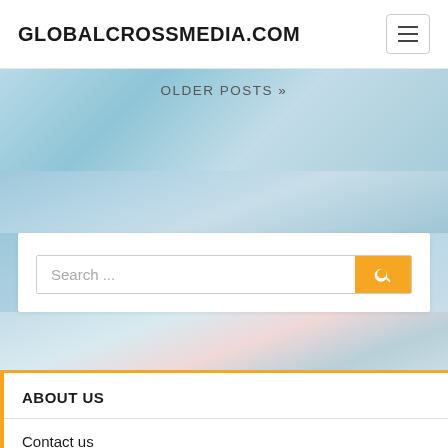GLOBALCROSSMEDIA.COM
OLDER POSTS »
[Figure (screenshot): Blue-toned world map / hexagonal background image]
Search ...
[Figure (photo): Light blue and pink world map background with a figure]
ABOUT US
Contact us
Advertise Here
Disclosure Policy